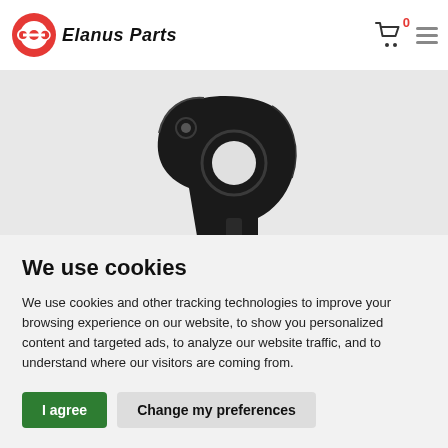SK33 derailleur hanger for Scott (#235288) bikes
[Figure (logo): Elanus Parts logo - red circular icon with bicycle sprocket design, next to bold italic text 'Elanus Parts']
[Figure (photo): Close-up photo of a black metal derailleur hanger bicycle part against a light gray background]
We use cookies
We use cookies and other tracking technologies to improve your browsing experience on our website, to show you personalized content and targeted ads, to analyze our website traffic, and to understand where our visitors are coming from.
I agree | Change my preferences